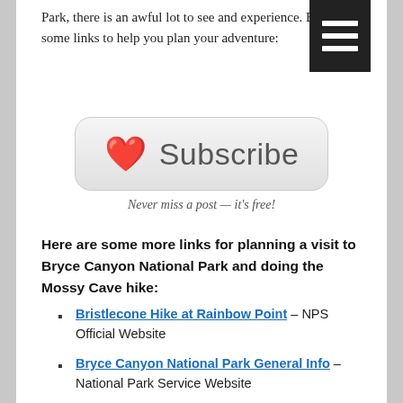Park, there is an awful lot to see and experience. Below are some links to help you plan your adventure:
[Figure (other): Subscribe button with red heart emoji and 'Subscribe' text on a rounded grey button]
Never miss a post — it's free!
Here are some more links for planning a visit to Bryce Canyon National Park and doing the Mossy Cave hike:
Bristlecone Hike at Rainbow Point – NPS Official Website
Bryce Canyon National Park General Info – National Park Service Website
RV/Tent Campgrounds in Bryce Canyon – Dry camping for small / medium RVs inside the National